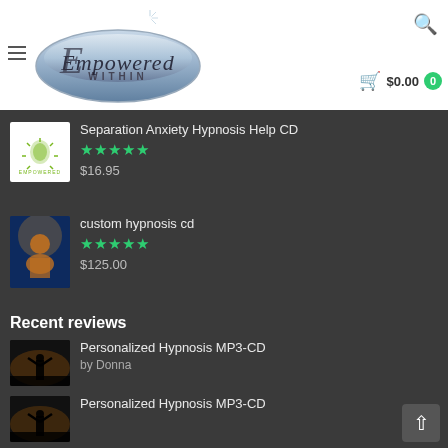[Figure (logo): Empowered Within logo with oval silver design and sparkle, hamburger menu icon, search icon, cart showing $0.00, and green badge with 0]
Separation Anxiety Hypnosis Help CD — ★★★★★ — $16.95
custom hypnosis cd — ★★★★★ — $125.00
Recent reviews
Personalized Hypnosis MP3-CD — by Donna
Personalized Hypnosis MP3-CD